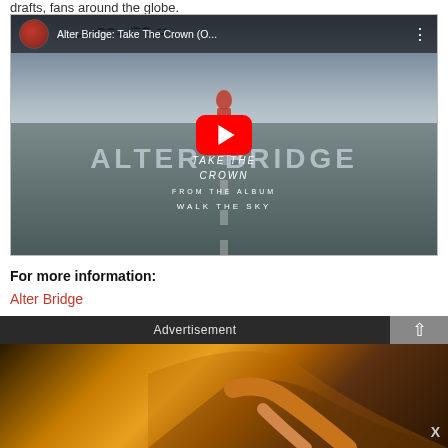drafts, fans around the globe.
[Figure (screenshot): YouTube video embed showing Alter Bridge: Take The Crown (O... video with YouTube player interface, play button overlay, band name ALTER BRIDGE visible, TAKE THE CROWN and FROM THE ALBUM WALK THE SKY text visible on a dramatic road/sky background]
For more information:
Alter Bridge
Advertisement
[Figure (photo): Advertisement banner showing close-up of an acoustic guitar body with warm orange/brown tones against dark background, with X close button in bottom right]